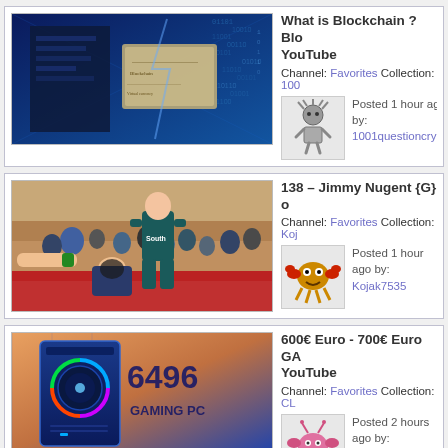[Figure (screenshot): Card 1: Blockchain YouTube video thumbnail (blue digital background with glowing text block), title 'What is Blockchain ? Blo... YouTube', Channel: Favorites, Collection: 100..., Posted 1 hour ago by: 1001questioncrypto]
[Figure (screenshot): Card 2: Wrestling match photo (two wrestlers on mat, gym setting), title '138 - Jimmy Nugent {G} o...', Channel: Favorites, Collection: Koj..., Posted 1 hour ago by: Kojak7535]
[Figure (screenshot): Card 3: Gaming PC YouTube thumbnail (blue gaming tower with '649€ GAMING PC' text), title '600€ Euro - 700€ Euro GA... YouTube', Channel: Favorites, Collection: CL..., Posted 2 hours ago by: mdbabu]